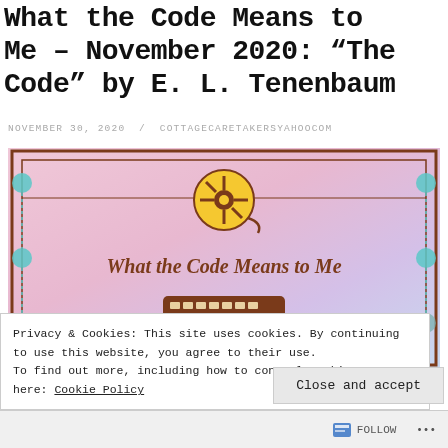What the Code Means to Me – November 2020: “The Code” by E. L. Tenenbaum
NOVEMBER 30, 2020 / COTTAGECARETAKERSYAHOOCOM
[Figure (illustration): Decorative book club banner image titled 'What the Code Means to Me' featuring a film reel icon, a keyboard icon, teal circle ornaments on the sides, brown border, and a pink/lavender watercolor background.]
Privacy & Cookies: This site uses cookies. By continuing to use this website, you agree to their use.
To find out more, including how to control cookies, see here: Cookie Policy
Close and accept
FOLLOW